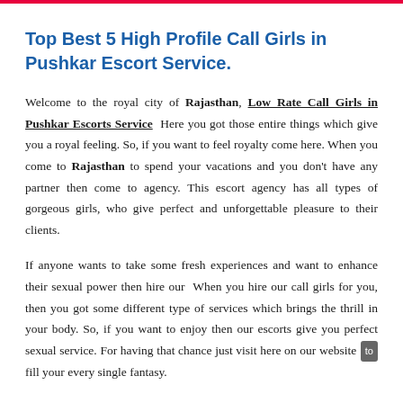Top Best 5 High Profile Call Girls in Pushkar Escort Service.
Welcome to the royal city of Rajasthan, Low Rate Call Girls in Pushkar Escorts Service  Here you got those entire things which give you a royal feeling. So, if you want to feel royalty come here. When you come to Rajasthan to spend your vacations and you don't have any partner then come to agency. This escort agency has all types of gorgeous girls, who give perfect and unforgettable pleasure to their clients.
If anyone wants to take some fresh experiences and want to enhance their sexual power then hire our  When you hire our call girls for you, then you got some different type of services which brings the thrill in your body. So, if you want to enjoy then our escorts give you perfect sexual service. For having that chance just visit here on our website to fill your every single fantasy.